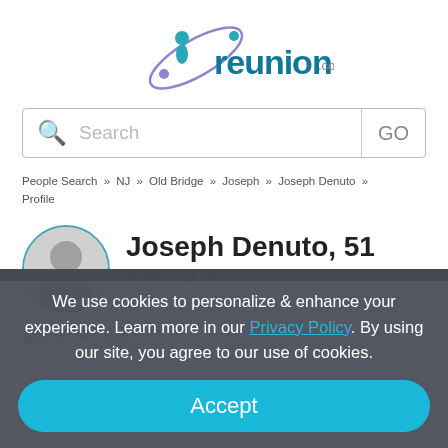[Figure (logo): reunion.com logo with teal text and orbiting figure graphic]
Search
People Search » NJ » Old Bridge » Joseph » Joseph Denuto » Profile
Joseph Denuto, 51
Old Bridge, NJ
Joseph J Denuto
We use cookies to personalize & enhance your experience. Learn more in our Privacy Policy. By using our site, you agree to our use of cookies.
Accept